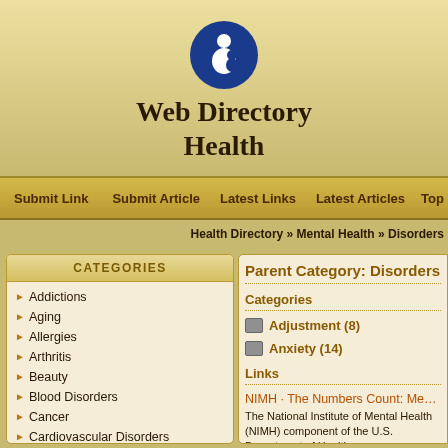[Figure (logo): Blue circle with white figures logo]
Web Directory
Health
Submit Link  Submit Article  Latest Links  Latest Articles  Top
Health Directory » Mental Health » Disorders
CATEGORIES
Addictions
Aging
Allergies
Arthritis
Beauty
Blood Disorders
Cancer
Cardiovascular Disorders
Child Health
Clinics
Consumer Products and Services
Dentistry
Diabetes
Digestive Disorders
Disabilities
Parent Category: Disorders
Categories
Adjustment (8)
Anxiety (14)
Links
NIMH · The Numbers Count: Mental Disord...
The National Institute of Mental Health (NIMH) component of the U.S. Department of Health a...